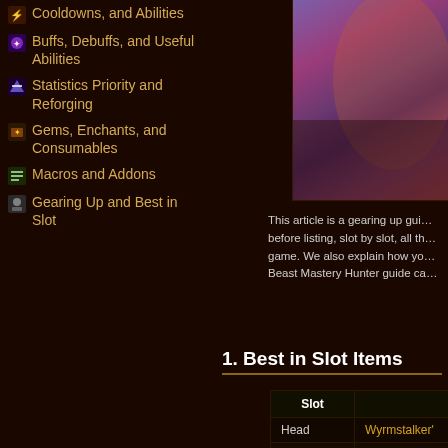Cooldowns, and Abilities
Buffs, Debuffs, and Useful Abilities
Statistics Priority and Reforging
Gems, Enchants, and Consumables
Macros and Addons
Gearing Up and Best in Slot
[Figure (screenshot): In-game screenshot showing a purple/violet background scene]
This article is a gearing up guide before listing, slot by slot, all th... game. We also explain how yo... Beast Mastery Hunter guide ca...
1. Best in Slot Items
| Slot |  |
| --- | --- |
| Head | Wyrmstalker' |
| Neck #1 | Cameo of Te |
| Neck #2 | Choker of the |
| Shoulders | Wyrmstalker' |
| Back | Dreadfire Dra |
| Chest | Wyrmstalker' |